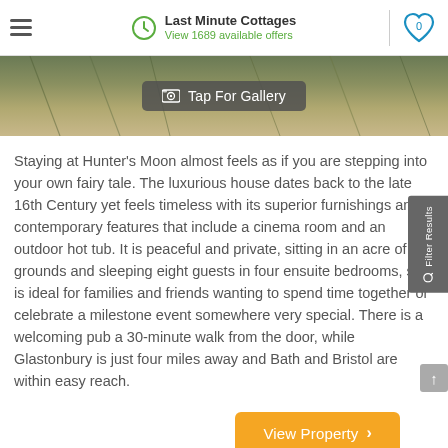Last Minute Cottages — View 1689 available offers
[Figure (photo): Outdoor garden/nature photo, partial view, with 'Tap For Gallery' button overlay]
Staying at Hunter's Moon almost feels as if you are stepping into your own fairy tale. The luxurious house dates back to the late 16th Century yet feels timeless with its superior furnishings and contemporary features that include a cinema room and an outdoor hot tub. It is peaceful and private, sitting in an acre of grounds and sleeping eight guests in four ensuite bedrooms, so it is ideal for families and friends wanting to spend time together or celebrate a milestone event somewhere very special. There is a welcoming pub a 30-minute walk from the door, while Glastonbury is just four miles away and Bath and Bristol are within easy reach.